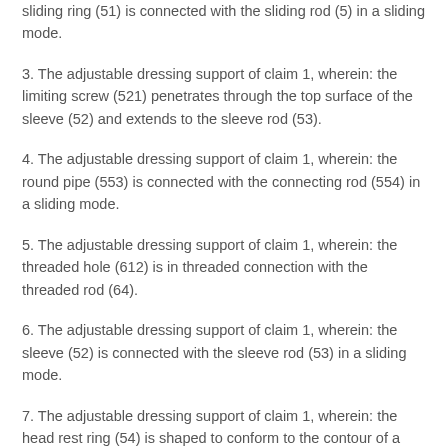sliding ring (51) is connected with the sliding rod (5) in a sliding mode.
3. The adjustable dressing support of claim 1, wherein: the limiting screw (521) penetrates through the top surface of the sleeve (52) and extends to the sleeve rod (53).
4. The adjustable dressing support of claim 1, wherein: the round pipe (553) is connected with the connecting rod (554) in a sliding mode.
5. The adjustable dressing support of claim 1, wherein: the threaded hole (612) is in threaded connection with the threaded rod (64).
6. The adjustable dressing support of claim 1, wherein: the sleeve (52) is connected with the sleeve rod (53) in a sliding mode.
7. The adjustable dressing support of claim 1, wherein: the head rest ring (54) is shaped to conform to the contour of a human brain.
Description